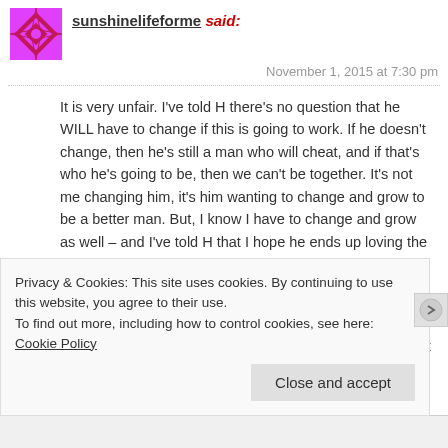sunshinelifeforme said:
November 1, 2015 at 7:30 pm
It is very unfair. I've told H there's no question that he WILL have to change if this is going to work. If he doesn't change, then he's still a man who will cheat, and if that's who he's going to be, then we can't be together. It's not me changing him, it's him wanting to change and grow to be a better man. But, I know I have to change and grow as well – and I've told H that I hope he ends up loving the "new me". There's no guarantee that he will.
As far as the wine, I totally get it, and surely he can find something he likes that doesn't trigger these feelings for you. There's lots of wine out there! H is still learning about triggers, but he's slowly beginning to see the we
Privacy & Cookies: This site uses cookies. By continuing to use this website, you agree to their use.
To find out more, including how to control cookies, see here: Cookie Policy
Close and accept